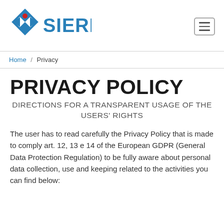[Figure (logo): Sierra company logo with diamond/arrow icon in blue and red, followed by bold blue 'SIERRA' text]
Home / Privacy
PRIVACY POLICY
DIRECTIONS FOR A TRANSPARENT USAGE OF THE USERS' RIGHTS
The user has to read carefully the Privacy Policy that is made to comply art. 12, 13 e 14 of the European GDPR (General Data Protection Regulation) to be fully aware about personal data collection, use and keeping related to the activities you can find below: